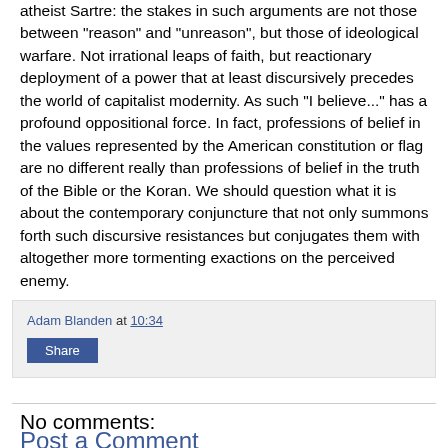atheist Sartre: the stakes in such arguments are not those between "reason" and "unreason", but those of ideological warfare. Not irrational leaps of faith, but reactionary deployment of a power that at least discursively precedes the world of capitalist modernity. As such "I believe..." has a profound oppositional force. In fact, professions of belief in the values represented by the American constitution or flag are no different really than professions of belief in the truth of the Bible or the Koran. We should question what it is about the contemporary conjuncture that not only summons forth such discursive resistances but conjugates them with altogether more tormenting exactions on the perceived enemy.
Adam Blanden at 10:34
Share
No comments:
Post a Comment